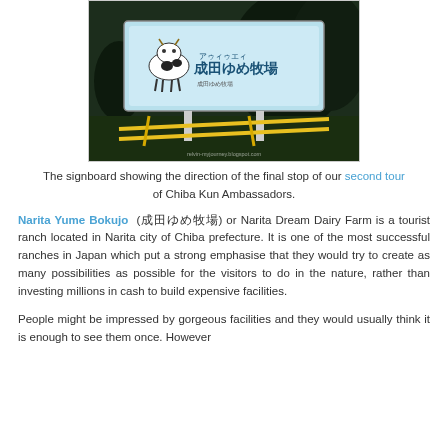[Figure (photo): A large billboard/signboard for Narita Yume Bokujo (Narita Dream Dairy Farm) featuring a cartoon cow logo and Japanese text, set outdoors at night with dark trees and yellow barriers in front. Watermark reads 'relvin-myjourney.blogspot.com'.]
The signboard showing the direction of the final stop of our second tour of Chiba Kun Ambassadors.
Narita Yume Bokujo (成田ゆめ牧場) or Narita Dream Dairy Farm is a tourist ranch located in Narita city of Chiba prefecture. It is one of the most successful ranches in Japan which put a strong emphasise that they would try to create as many possibilities as possible for the visitors to do in the nature, rather than investing millions in cash to build expensive facilities.
People might be impressed by gorgeous facilities and they would usually think it is enough to see them once. However